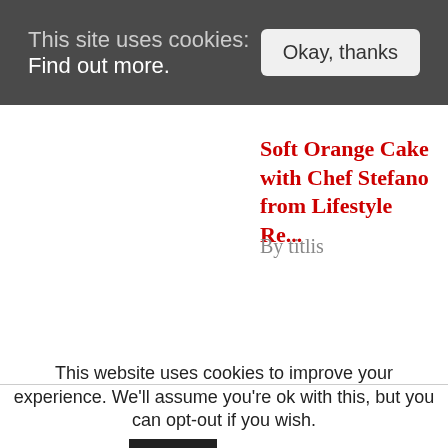This site uses cookies: Find out more.  Okay, thanks
Soft Orange Cake with Chef Stefano from Lifestyle Re...
By titlis
This website uses cookies to improve your experience. We'll assume you're ok with this, but you can opt-out if you wish.  Accept  Read More